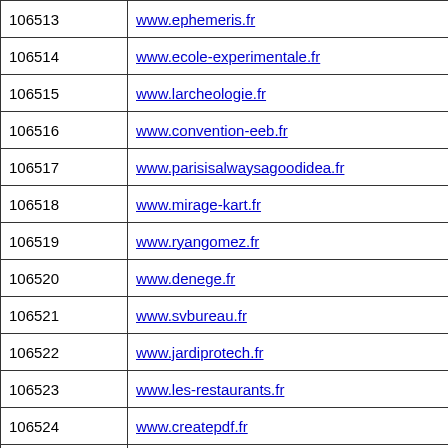| ID | URL |
| --- | --- |
| 106513 | www.ephemeris.fr |
| 106514 | www.ecole-experimentale.fr |
| 106515 | www.larcheologie.fr |
| 106516 | www.convention-eeb.fr |
| 106517 | www.parisisalwaysagoodidea.fr |
| 106518 | www.mirage-kart.fr |
| 106519 | www.ryangomez.fr |
| 106520 | www.denege.fr |
| 106521 | www.svbureau.fr |
| 106522 | www.jardiprotech.fr |
| 106523 | www.les-restaurants.fr |
| 106524 | www.createpdf.fr |
| 106525 | www.fitness-serenite.fr |
| 106526 | www.word-class.fr |
| 106527 | www.cervosa.fr |
| 106528 | www.nomad-shop.fr |